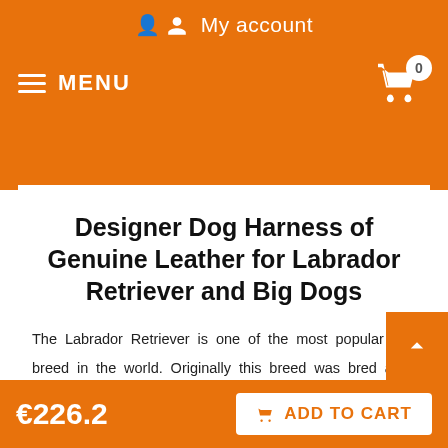My account
MENU
Designer Dog Harness of Genuine Leather for Labrador Retriever and Big Dogs
The Labrador Retriever is one of the most popular dog breed in the world. Originally this breed was bred as a working dog, so a lot of Labradors are still used as hunting dogs, guide dogs, and rescue dogs and for drug search. These dogs are characterized by their lack of aggression towards people and animals. They are very sociable with people, so they can be trained well. The Labie is the rascal and behaves very active. It wants to make friends with everyone and
€226.2  ADD TO CART